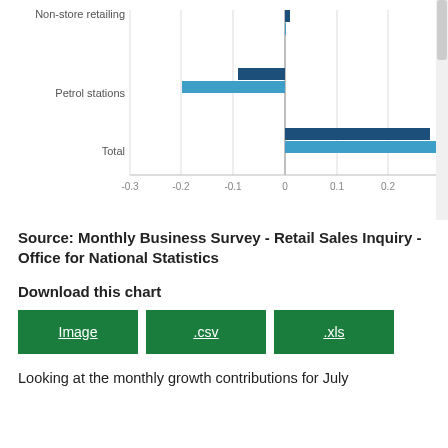[Figure (grouped-bar-chart): Monthly growth contributions]
Source: Monthly Business Survey - Retail Sales Inquiry - Office for National Statistics
Download this chart
[Figure (other): Three green download buttons labeled Image, .csv, .xls]
Looking at the monthly growth contributions for July